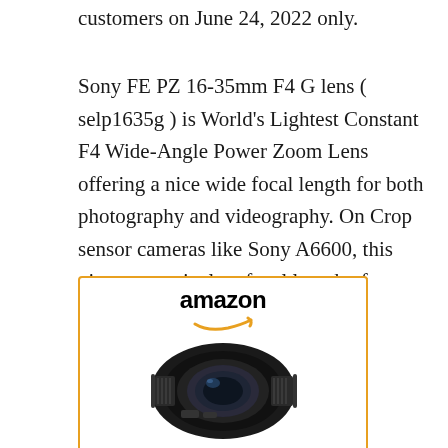customers on June 24, 2022 only.
Sony FE PZ 16-35mm F4 G lens ( selp1635g ) is World’s Lightest Constant F4 Wide-Angle Power Zoom Lens offering a nice wide focal length for both photography and videography. On Crop sensor cameras like Sony A6600, this gives an equivalent focal length of 24-52.5 mm.
[Figure (other): Amazon product card showing the Sony FE PZ 16-35mm lens with Amazon logo and orange smile, product image of black camera lens, and caption 'Sony FE PZ 16-' in blue text]